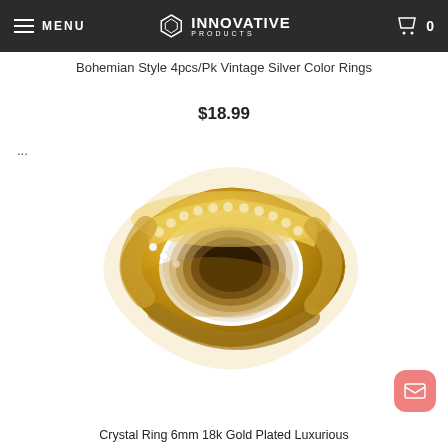MENU | INNOVATIVE PRODUCTS | 0
Bohemian Style 4pcs/Pk Vintage Silver Color Rings
$18.99
...
[Figure (photo): A gold-plated crystal ring with a row of diamonds/crystals set along the center channel, photographed on a white background.]
Crystal Ring 6mm 18k Gold Plated Luxurious